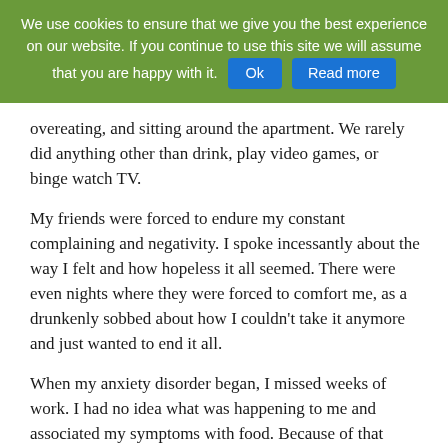We use cookies to ensure that we give you the best experience on our website. If you continue to use this site we will assume that you are happy with it. Ok  Read more
overeating, and sitting around the apartment. We rarely did anything other than drink, play video games, or binge watch TV.
My friends were forced to endure my constant complaining and negativity. I spoke incessantly about the way I felt and how hopeless it all seemed. There were even nights where they were forced to comfort me, as a drunkenly sobbed about how I couldn't take it anymore and just wanted to end it all.
When my anxiety disorder began, I missed weeks of work. I had no idea what was happening to me and associated my symptoms with food. Because of that confusion, I mostly stopped eating and lost a lot of weight, very suddenly. My mother became concerned and took me to the doctor, where they quickly diagnosed me with high anxiety and panic disorder. Thus began a long relationship with mood altering medications.